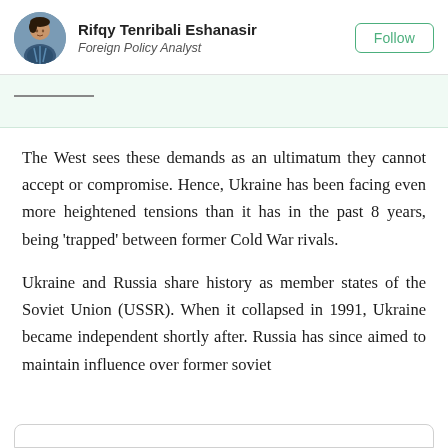Rifqy Tenribali Eshanasir — Foreign Policy Analyst
The West sees these demands as an ultimatum they cannot accept or compromise. Hence, Ukraine has been facing even more heightened tensions than it has in the past 8 years, being 'trapped' between former Cold War rivals.
Ukraine and Russia share history as member states of the Soviet Union (USSR). When it collapsed in 1991, Ukraine became independent shortly after. Russia has since aimed to maintain influence over former soviet